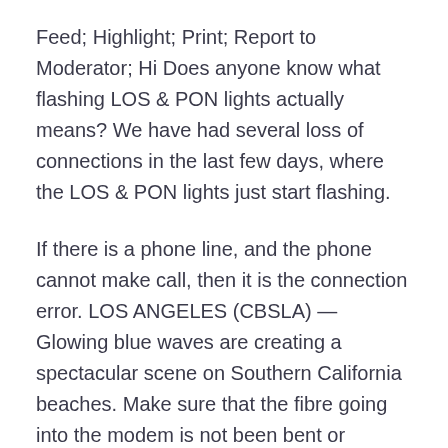Feed; Highlight; Print; Report to Moderator; Hi Does anyone know what flashing LOS & PON lights actually means? We have had several loss of connections in the last few days, where the LOS & PON lights just start flashing.
If there is a phone line, and the phone cannot make call, then it is the connection error. LOS ANGELES (CBSLA) — Glowing blue waves are creating a spectacular scene on Southern California beaches. Make sure that the fibre going into the modem is not been bent or damaged, and that the connector has not come loose.
Red Light District XXX version 4.1 Whats new in update 4.1 I thought that the Cocktail Bar with the roof terras could use a small restaurant where u can get some food and